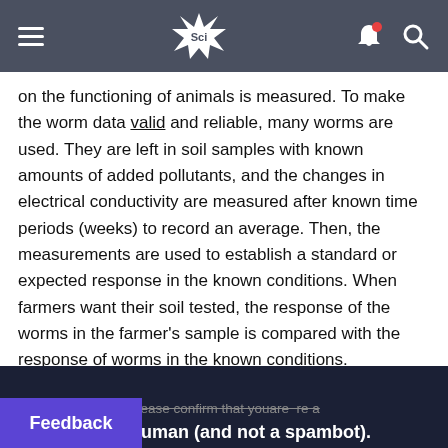Sci [navigation bar with hamburger menu, Sci logo, bell icon, search icon]
on the functioning of animals is measured. To make the worm data valid and reliable, many worms are used. They are left in soil samples with known amounts of added pollutants, and the changes in electrical conductivity are measured after known time periods (weeks) to record an average. Then, the measurements are used to establish a standard or expected response in the known conditions. When farmers want their soil tested, the response of the worms in the farmer's sample is compared with the response of worms in the known conditions.
please confirm that youare   re a human (and not a spambot).
Feedback